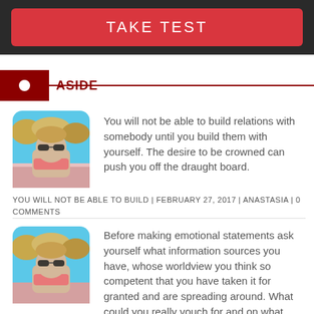TAKE TEST
ASIDE
[Figure (photo): Person wearing sunglasses and a pink scarf outdoors with flowers and trees in background]
You will not be able to build relations with somebody until you build them with yourself. The desire to be crowned can push you off the draught board.
YOU WILL NOT BE ABLE TO BUILD | FEBRUARY 27, 2017 | ANASTASIA | 0 COMMENTS
[Figure (photo): Person wearing sunglasses and a pink scarf outdoors with flowers and trees in background]
Before making emotional statements ask yourself what information sources you have, whose worldview you think so competent that you have taken it for granted and are spreading around. What could you really vouch for and on what grounds? Even if it is a personal experience is it possible to say